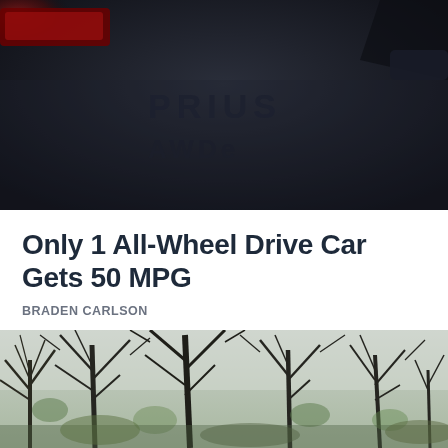[Figure (photo): Close-up of a dark car badge reading 'PRIUS' and 'AWDe' on a dark vehicle body, with a red tail light visible in the upper left corner.]
Only 1 All-Wheel Drive Car Gets 50 MPG
BRADEN CARLSON
[Figure (photo): Outdoor scene showing bare twisted tree branches against a pale overcast sky, with some green foliage visible, reflected or photographed through a wet surface.]